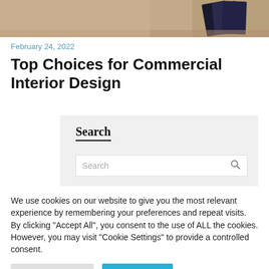[Figure (photo): Top strip of a photo showing a desk or table surface with books/cards, cropped at the top of the page]
February 24, 2022
Top Choices for Commercial Interior Design
Search
Search
We use cookies on our website to give you the most relevant experience by remembering your preferences and repeat visits. By clicking "Accept All", you consent to the use of ALL the cookies. However, you may visit "Cookie Settings" to provide a controlled consent.
Cookie Settings
Accept All